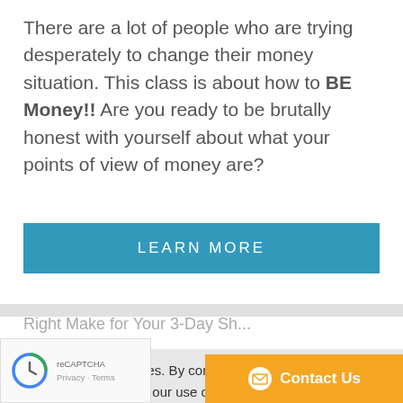There are a lot of people who are trying desperately to change their money situation. This class is about how to BE Money!! Are you ready to be brutally honest with yourself about what your points of view of money are?
LEARN MORE
This site uses cookies. By continuing to browse the site you are agreeing to our use of cookies. Find out more.
IMPORTANT!
do NOT track your IP address or use analytics, or cookies for retarget advertising. If you like us, just come back and vi...n!
Contact Us